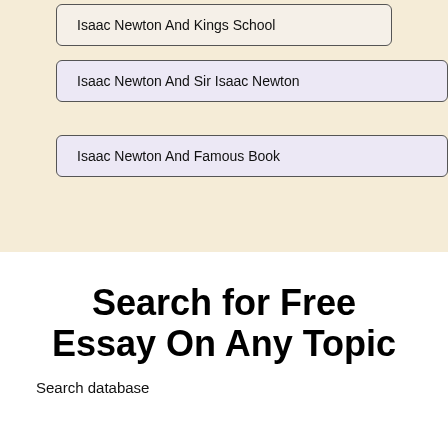Isaac Newton And Kings School
Isaac Newton And Sir Isaac Newton
Isaac Newton And Famous Book
Search for Free Essay On Any Topic
Search database